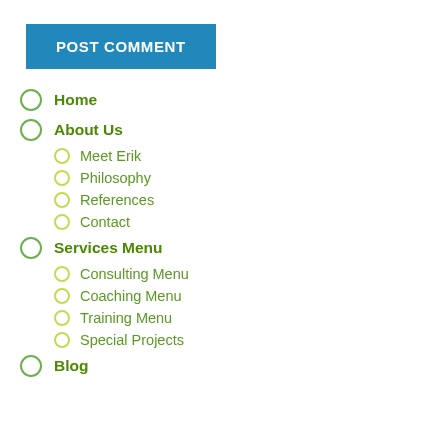[Figure (screenshot): POST COMMENT button — blue rectangular button with white bold text]
Home
About Us
Meet Erik
Philosophy
References
Contact
Services Menu
Consulting Menu
Coaching Menu
Training Menu
Special Projects
Blog